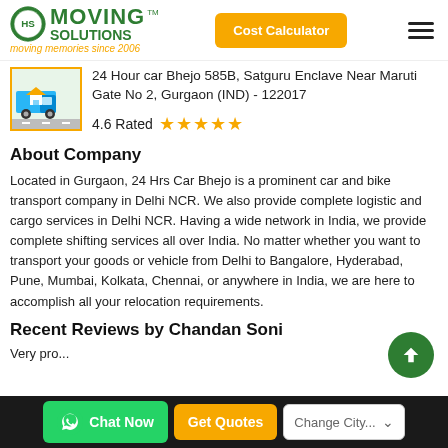Moving Solutions - moving memories since 2006
24 Hour car Bhejo 585B, Satguru Enclave Near Maruti Gate No 2, Gurgaon (IND) - 122017
4.6 Rated ★★★★★
About Company
Located in Gurgaon, 24 Hrs Car Bhejo is a prominent car and bike transport company in Delhi NCR. We also provide complete logistic and cargo services in Delhi NCR. Having a wide network in India, we provide complete shifting services all over India. No matter whether you want to transport your goods or vehicle from Delhi to Bangalore, Hyderabad, Pune, Mumbai, Kolkata, Chennai, or anywhere in India, we are here to accomplish all your relocation requirements.
Recent Reviews by Chandan Soni
Very pro...
Chat Now | Get Quotes | Change City...